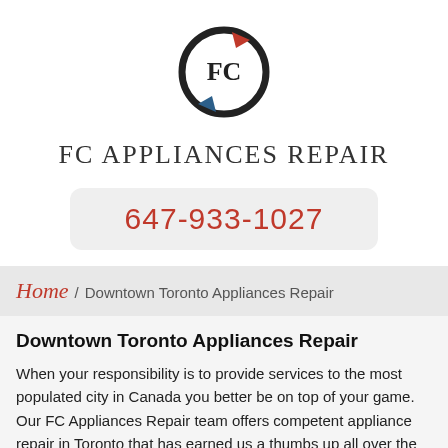[Figure (logo): FC Appliances Repair circular logo with red arrow pointing up-right and blue arrow pointing down-left, with 'FC' text in center]
FC APPLIANCES REPAIR
647-933-1027
Home / Downtown Toronto Appliances Repair
Downtown Toronto Appliances Repair
When your responsibility is to provide services to the most populated city in Canada you better be on top of your game. Our FC Appliances Repair team offers competent appliance repair in Toronto that has earned us a thumbs up all over the community.